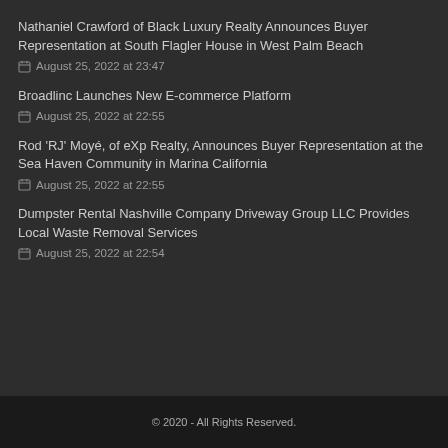Nathaniel Crawford of Black Luxury Realty Announces Buyer Representation at South Flagler House in West Palm Beach
📅 August 25, 2022 at 23:47
Broadlinc Launches New E-commerce Platform
📅 August 25, 2022 at 22:55
Rod 'RJ' Moyé, of eXp Realty, Announces Buyer Representation at the Sea Haven Community in Marina California
📅 August 25, 2022 at 22:55
Dumpster Rental Nashville Company Driveway Group LLC Provides Local Waste Removal Services
📅 August 25, 2022 at 22:54
© 2020 - All Rights Reserved.